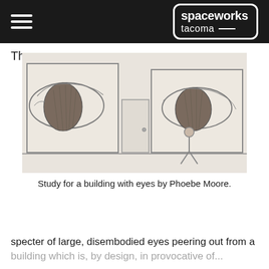spaceworks tacoma
The
[Figure (illustration): Pencil sketch study of a building interior with two large framed artworks showing disembodied eyes. A small stick figure stands in the middle between the frames. The sketch shows a gallery-like room with a door between the two large eye drawings.]
Study for a building with eyes by Phoebe Moore.
specter of large, disembodied eyes peering out from a